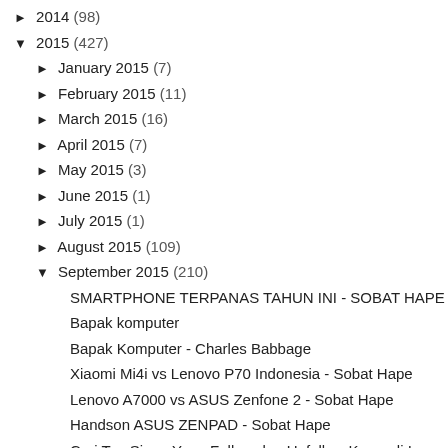► 2014 (98)
▼ 2015 (427)
► January 2015 (7)
► February 2015 (11)
► March 2015 (16)
► April 2015 (7)
► May 2015 (3)
► June 2015 (1)
► July 2015 (1)
► August 2015 (109)
▼ September 2015 (210)
SMARTPHONE TERPANAS TAHUN INI - SOBAT HAPE
Bapak komputer
Bapak Komputer - Charles Babbage
Xiaomi Mi4i vs Lenovo P70 Indonesia - Sobat Hape
Lenovo A7000 vs ASUS Zenfone 2 - Sobat Hape
Handson ASUS ZENPAD - Sobat Hape
Cari Tau Siapa Yang Follow dan Unfollow Kamu di In...
Tips Menyusun War Base di Clash of Clans
Cara mendownload video di instagram
BAPAK KOMPUTER SAINS
Bapak Arsitektur Komputer
7 Daftar Domain Dan Hosting Gratis Paling Populer